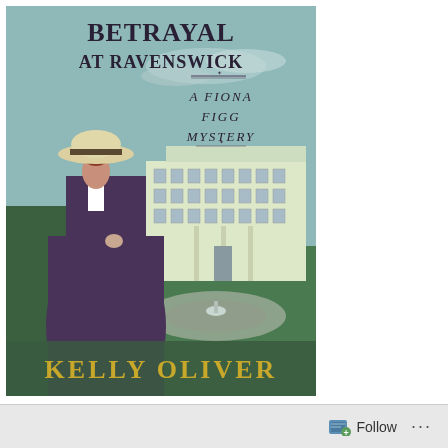[Figure (illustration): Book cover for 'Betrayal at Ravenswick: A Fiona Figg Mystery' by Kelly Oliver. Shows a woman in a dark purple long dress and white straw hat, facing away, standing in front of a large manor house with formal gardens. Art deco style illustration with teal sky background.]
Betrayal at Ravenswick. Finished 1-19-21,